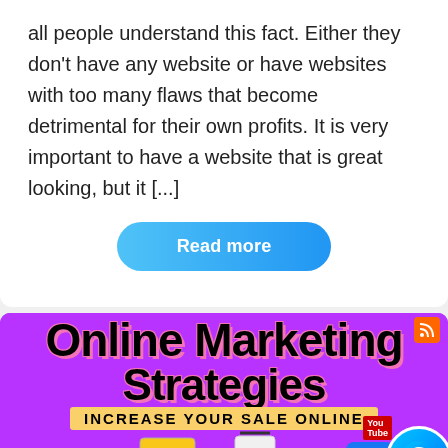all people understand this fact. Either they don't have any website or have websites with too many flaws that become detrimental for their own profits. It is very important to have a website that is great looking, but it [...]
Read more
[Figure (infographic): Online Marketing Strategies infographic with purple background showing social media icons (Facebook, Twitter, YouTube, Messenger), cardboard box with social icons, hands holding credit card and shopping bag, text: Online Marketing Strategies, INCREASE YOUR SALE ONLINE]